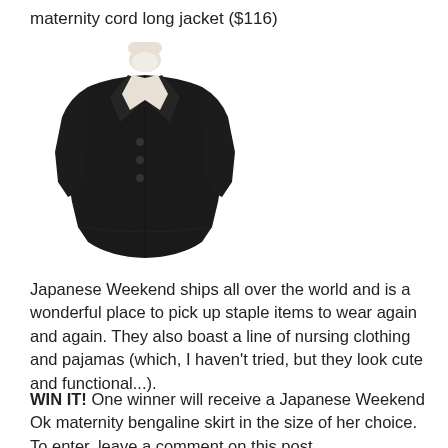maternity cord long jacket ($116)
[Figure (photo): A black maternity long jacket displayed on a dress form/mannequin. The jacket is double-breasted style with long sleeves and hits at knee length.]
Japanese Weekend ships all over the world and is a wonderful place to pick up staple items to wear again and again. They also boast a line of nursing clothing and pajamas (which, I haven't tried, but they look cute and functional...).
WIN IT! One winner will receive a Japanese Weekend Ok maternity bengaline skirt in the size of her choice. To enter, leave a comment on this post